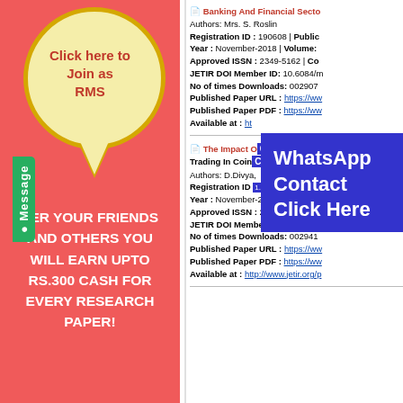[Figure (infographic): Left panel advertisement: coral/salmon background with oval speech bubble saying 'Click here to Join as RMS', green Message tab rotated vertically, and white bold text about referral program earning RS.300 cash for every research paper.]
Banking And Financial Secto...
Authors: Mrs. S. Roslin
Registration ID : 190608 | Public...
Year : November-2018 | Volume: ...
Approved ISSN : 2349-5162 | Co...
JETIR DOI Member ID: 10.6084/m...
No of times Downloads: 002907
Published Paper URL : https://ww...
Published Paper PDF : https://ww...
Available at : ht...
[Figure (infographic): WhatsApp Contact Click Here overlay button in blue/purple.]
The Impact O... Trading In Coin...
Authors: D.Divya,...
Registration ID: 1... | Public...
Year : November-2018 | Volume: ...
Approved ISSN : 2349-5162 | Co...
JETIR DOI Member ID: 10.6084/m...
No of times Downloads: 002941
Published Paper URL : https://ww...
Published Paper PDF : https://ww...
Available at : http://www.jetir.org/p...
[Figure (infographic): Contact Us / Click Here overlay button in blue/purple.]